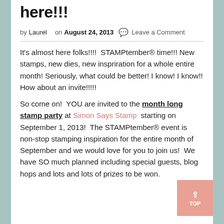here!!!
by Laurel   on August 24, 2013  💬 Leave a Comment
It's almost here folks!!!!  STAMPtember® time!!! New stamps, new dies, new inspriration for a whole entire month! Seriously, what could be better! I know! I know!! How about an invite!!!!!
So come on!  YOU are invited to the month long stamp party at Simon Says Stamp  starting on September 1, 2013!  The STAMPtember® event is non-stop stamping inspiration for the entire month of September and we would love for you to join us!  We have SO much planned including special guests, blog hops and lots and lots of prizes to be won.